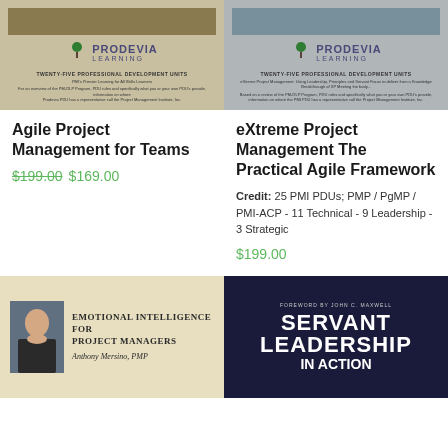[Figure (photo): Prodevia Learning book cover for Agile Project Management for Teams, beige/tan background with tree logo]
[Figure (photo): Prodevia Learning book cover for eXtreme Project Management The Practical Agile Framework, gray background with tree logo]
Agile Project Management for Teams
$199.00 $169.00
eXtreme Project Management The Practical Agile Framework
Credit: 25 PMI PDUs; PMP / PgMP / PMI-ACP - 11 Technical - 9 Leadership - 3 Strategic
$199.00
[Figure (photo): Book cover: Emotional Intelligence for Project Managers by Anthony Mersino, PMP. Tan background with author photo.]
[Figure (photo): Book cover: Servant Leadership in Action, foreword by John C. Maxwell. Dark navy background with large bold text.]